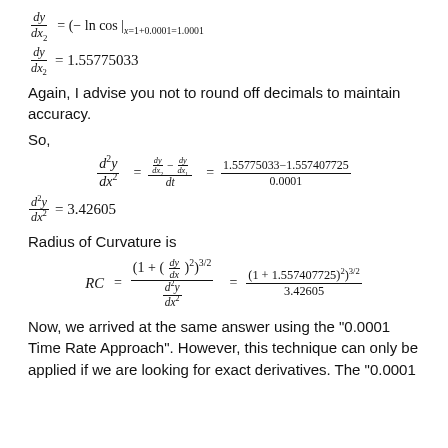Again, I advise you not to round off decimals to maintain accuracy.
So,
Radius of Curvature is
Now, we arrived at the same answer using the "0.0001 Time Rate Approach". However, this technique can only be applied if we are looking for exact derivatives. The "0.0001